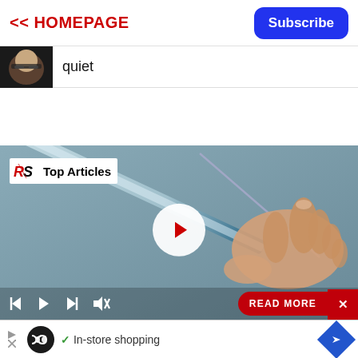<< HOMEPAGE
Subscribe
quiet
[Figure (screenshot): Video player showing a medical syringe/injection scene with 'RS Top Articles' overlay badge, play button, media controls, and READ MORE button]
[Figure (screenshot): Advertisement banner with loop/infinity icon, checkmark, 'In-store shopping' text, and navigation diamond arrow icon]